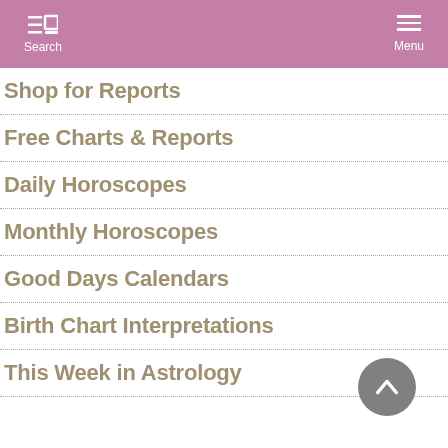Search | Menu
Shop for Reports
Free Charts & Reports
Daily Horoscopes
Monthly Horoscopes
Good Days Calendars
Birth Chart Interpretations
This Week in Astrology
[Figure (other): Back to top button — circular gray button with upward-pointing chevron/arrow, positioned bottom-right]